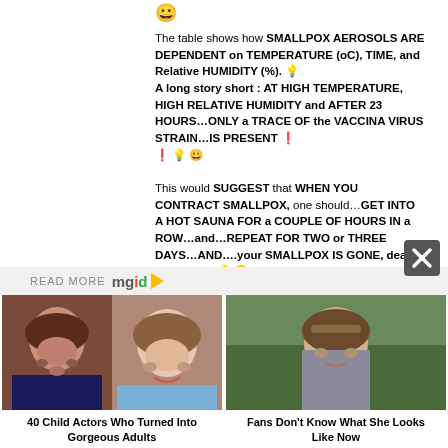[Figure (illustration): Smiley face emoji at top]
The table shows how SMALLPOX AEROSOLS ARE DEPENDENT on TEMPERATURE (oC), TIME, and Relative HUMIDITY (%). 💡 A long story short : AT HIGH TEMPERATURE, HIGH RELATIVE HUMIDITY and AFTER 23 HOURS…ONLY a TRACE OF the VACCINA VIRUS STRAIN…IS PRESENT ❗ ❗ 💡 😀
This would SUGGEST that WHEN YOU CONTRACT SMALLPOX, one should…GET INTO A HOT SAUNA FOR a COUPLE OF HOURS IN a ROW…and…REPEAT FOR TWO or THREE DAYS…AND….your SMALLPOX IS GONE, dead FOREVER. 💡 😀
READ MORE mgid ▷
[Figure (photo): Two child actor photos side by side - a teenage girl with red hair and a smiling young girl]
40 Child Actors Who Turned Into Gorgeous Adults
[Figure (photo): A young girl with long brown hair in an outdoor setting]
Fans Don't Know What She Looks Like Now